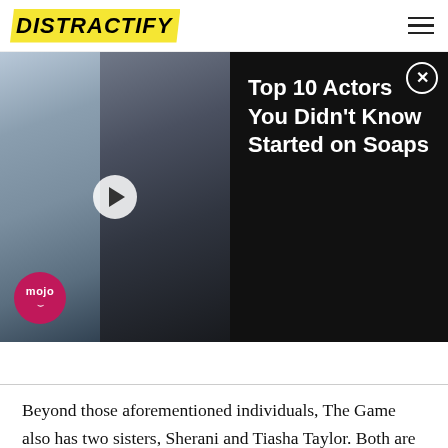DISTRACTIFY
[Figure (screenshot): Video thumbnail showing two male actors side by side with a play button overlay and WatchMojo logo badge]
Top 10 Actors You Didn't Know Started on Soaps
Beyond those aforementioned individuals, The Game also has two sisters, Sherani and Tiasha Taylor. Both are still alive and healthy and fans of the rapper can see the two